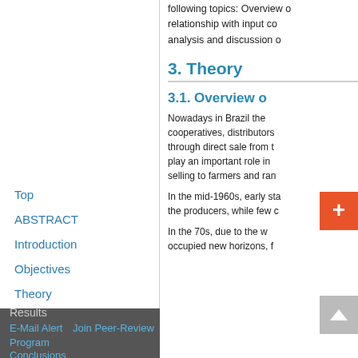following topics: Overview of the relationship with input co... analysis and discussion o...
3. Theory
3.1. Overview o...
Nowadays in Brazil the cooperatives, distributors... through direct sale from t... play an important role in ... selling to farmers and ran...
In the mid-1960s, early sta... the producers, while few c...
In the 70s, due to the w... occupied new horizons, f...
Top
ABSTRACT
Introduction
Objectives
Theory
Procedures
Results   E-Mail Alert   Join Peer-Review Program   Conclusions